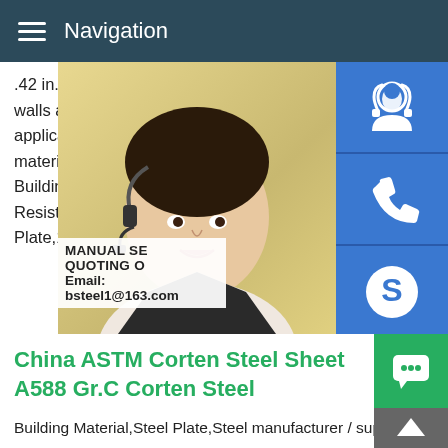Navigation
.42 in.Cement Board is a cement backerboard with walls,floors and countertops.Use on walls areas,as a tile backerboard and as an underpayment and wood flooring applications.Home - Me high quality prefabricated steel buildings,m building materials,carports,hardware accessories more!China High Quality Weather Resistant Building Material,Steel Plate,Steel manufacturer China,offering High Quality Weather Resistant A588 Steel Plate/Carbon Steel Plate,Embossed Aluminium Chequered Plate,1050 1060 1100 Diamond Chequered Aluminium Sheet and so on.
[Figure (photo): Customer service woman with headset, sidebar with contact icons (support, phone, Skype), contact info overlay with MANUAL SERVICE, QUOTING O..., Email: bsteel1@163.com]
China ASTM Corten Steel Sheet A588 Gr.C Corten Steel
Building Material,Steel Plate,Steel manufacturer / supplier in